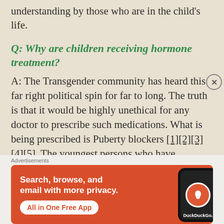understanding by those who are in the child's life.
Q: Why are children receiving hormone treatment?
A: The Transgender community has heard this far right political spin for far to long. The truth is that it would be highly unethical for any doctor to prescribe such medications. What is being prescribed is Puberty blockers [1][2][3][4][5]. The youngest persons who have received hormone
[Figure (screenshot): DuckDuckGo advertisement banner with orange/red background showing 'Search, browse, and email with more privacy. All in One Free App' text with a phone mockup displaying the DuckDuckGo logo]